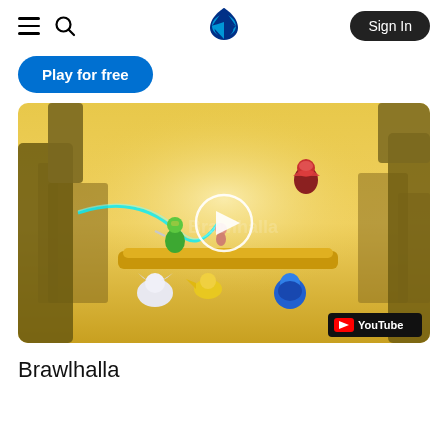PlayStation Store navigation header with hamburger menu, search icon, PlayStation logo, and Sign In button
Play for free
[Figure (screenshot): Brawlhalla game screenshot showing colorful animated characters fighting in a golden fantasy arena with a play button overlay and YouTube badge]
Brawlhalla